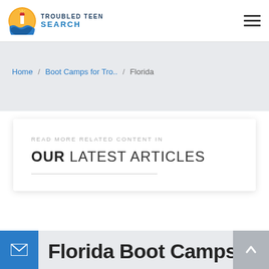Troubled Teen Search
Home / Boot Camps for Tro.. / Florida
READ MORE RELATED CONTENT IN OUR LATEST ARTICLES
Florida Boot Camps